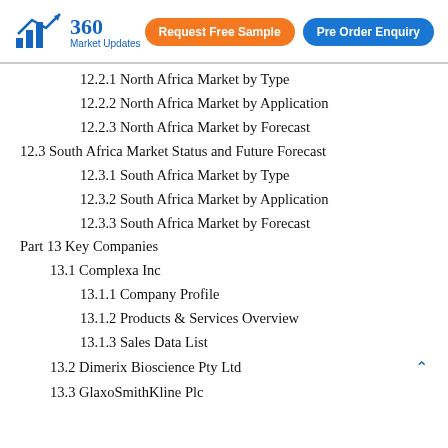360 Market Updates | Request Free Sample | Pre Order Enquiry
12.2.1 North Africa Market by Type
12.2.2 North Africa Market by Application
12.2.3 North Africa Market by Forecast
12.3 South Africa Market Status and Future Forecast
12.3.1 South Africa Market by Type
12.3.2 South Africa Market by Application
12.3.3 South Africa Market by Forecast
Part 13 Key Companies
13.1 Complexa Inc
13.1.1 Company Profile
13.1.2 Products & Services Overview
13.1.3 Sales Data List
13.2 Dimerix Bioscience Pty Ltd
13.3 GlaxoSmithKline Plc